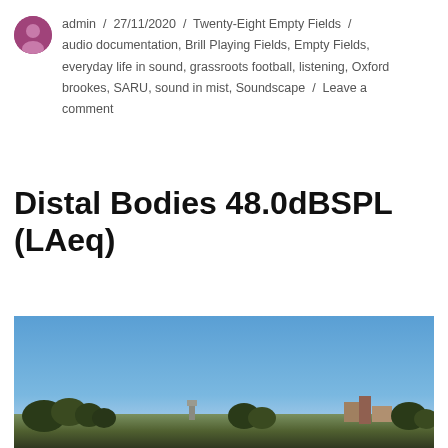admin / 27/11/2020 / Twenty-Eight Empty Fields / audio documentation, Brill Playing Fields, Empty Fields, everyday life in sound, grassroots football, listening, Oxford brookes, SARU, sound in mist, Soundscape / Leave a comment
Distal Bodies 48.0dBSPL (LAeq)
[Figure (photo): Outdoor photograph showing a wide blue sky occupying most of the frame, with a treeline and distant buildings/structures silhouetted along the bottom horizon.]